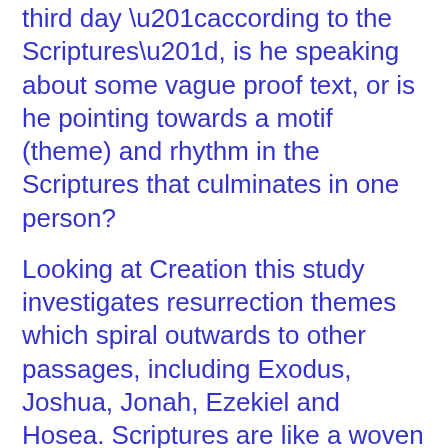third day “according to the Scriptures”, is he speaking about some vague proof text, or is he pointing towards a motif (theme) and rhythm in the Scriptures that culminates in one person?
Looking at Creation this study investigates resurrection themes which spiral outwards to other passages, including Exodus, Joshua, Jonah, Ezekiel and Hosea. Scriptures are like a woven tapestry and through following the many threads we can come to a clearer picture of what the apostle Paul meant when he said “according to the Scriptures”.
Also included is some discussion on what tradition says about the resurrection and how that impacts the words of the apostle Paul. Twinkling of an eye, the shofar (trumpet) that raises the dead and a resurrection at Sinai (in Exodus 19-24) are all discussed.